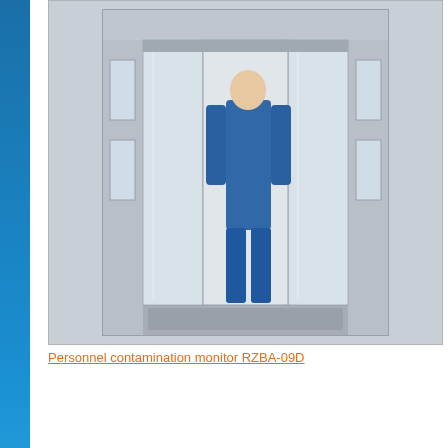[Figure (photo): Personnel contamination monitor RZBA-09D – a walk-through booth/chamber with glass panels and a person in blue protective clothing standing inside]
Personnel contamination monitor RZBA-09D
immediate vicinity of the close to the work area c plate in the body. It has results are transferred t operators' stations can b for data communication personnel close to the v laptops represent all me ionizing radiation sourc units are installed on th measurement channel a
News
22.07.2022
"In prospect we are planning new training programs of radiation ecology and radiochemistry," said Alexander Martyniuk, SPC Doza
[Figure (illustration): Orange email/envelope icon button]
© Information SPC "DOZA"
All information on the site is not a public offer.